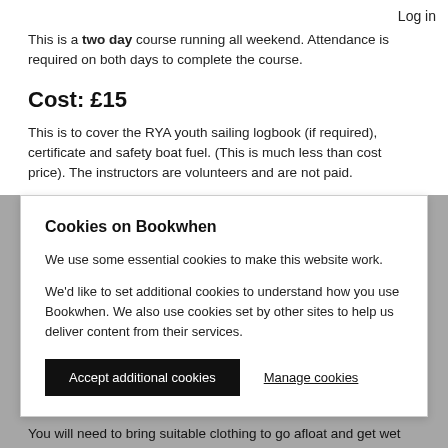Log in
This is a two day course running all weekend. Attendance is required on both days to complete the course.
Cost: £15
This is to cover the RYA youth sailing logbook (if required), certificate and safety boat fuel. (This is much less than cost price). The instructors are volunteers and are not paid.
Cookies on Bookwhen
We use some essential cookies to make this website work.
We'd like to set additional cookies to understand how you use Bookwhen. We also use cookies set by other sites to help us deliver content from their services.
Accept additional cookies
Manage cookies
You will need to bring suitable clothing to go afloat and get wet